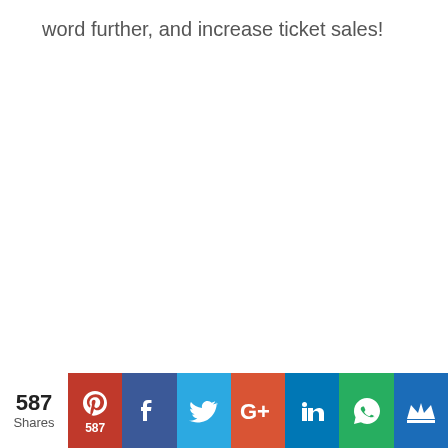word further, and increase ticket sales!
[Figure (infographic): Social sharing bar with share count 587, Pinterest (587), Facebook, Twitter, Google+, LinkedIn, WhatsApp, and crown/bookmark buttons]